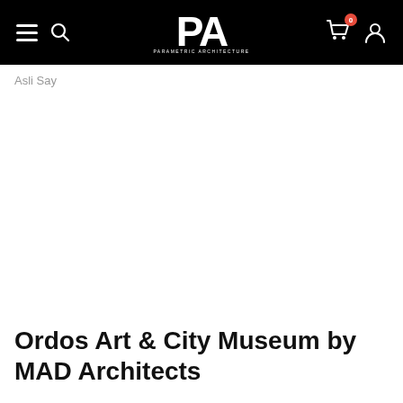PA — Parametric Architecture
Asli Say
Ordos Art & City Museum by MAD Architects